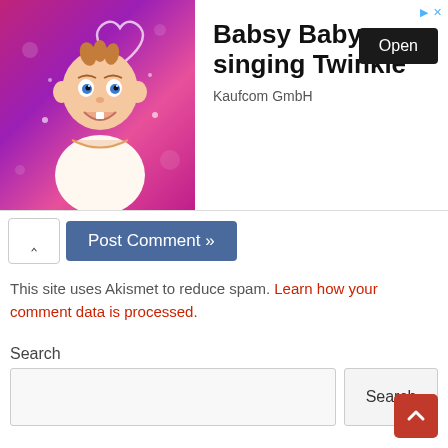[Figure (screenshot): Advertisement banner for 'Babsy Baby singing Twinkle' app by Kaufcom GmbH, showing a cartoon baby character on a pink/magenta background on the left, and the app name, developer name, and an 'Open' button on the right.]
[Figure (screenshot): Post Comment button (blue/steel blue) with a chevron-up caret icon to its left]
This site uses Akismet to reduce spam. Learn how your comment data is processed.
Search
[Figure (screenshot): Search input field and Search button]
[Figure (screenshot): Red scroll-to-top button with chevron-up icon at bottom right]